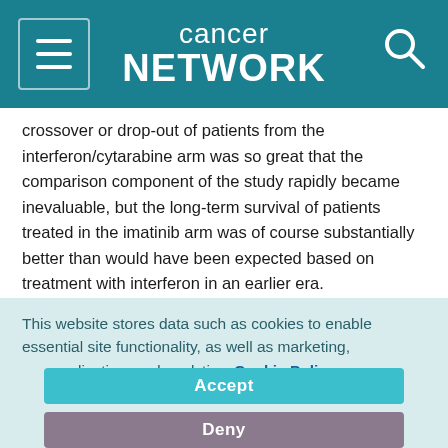Cancer Network
crossover or drop-out of patients from the interferon/cytarabine arm was so great that the comparison component of the study rapidly became inevaluable, but the long-term survival of patients treated in the imatinib arm was of course substantially better than would have been expected based on treatment with interferon in an earlier era.
In the past decade, the notion of treating CML by targeting the BCR-ABL1 oncoprotein has been developed further. Four new TKIs, namely dasatinib (Sprycel), nilotinib (Tasigna), bosutinib (Bosulif),
This website stores data such as cookies to enable essential site functionality, as well as marketing, personalization, and analytics. Cookie Policy
Accept
Deny